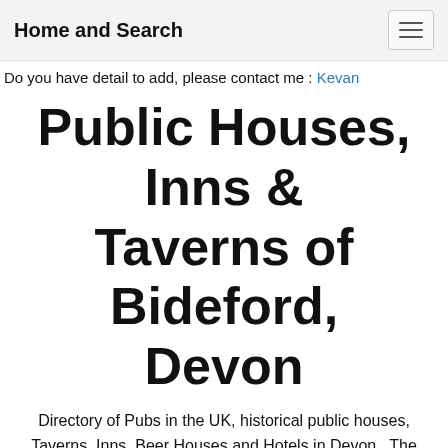Home and Search
Do you have detail to add, please contact me : Kevan
Public Houses, Inns & Taverns of Bideford, Devon
Directory of Pubs in the UK, historical public houses, Taverns, Inns, Beer Houses and Hotels in Devon . The Devon listing uses information from census, Trade Directories and History to add licensees, bar staff, Lodgers and Visitors.
| Premises | Pic? | Text? |
| --- | --- | --- |
| Angel, Market Place, Bideford | No | Yes |